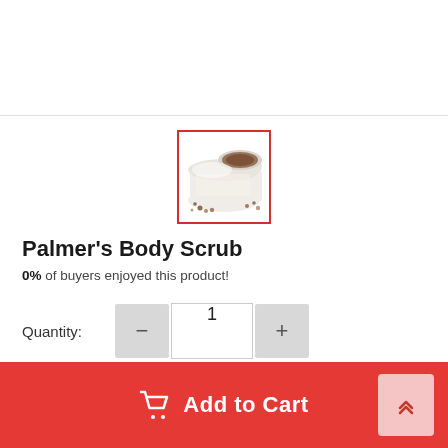[Figure (photo): Thumbnail image of Palmer's Body Scrub product in a white container with brown scrub visible, surrounded by a red border]
Palmer's Body Scrub
0% of buyers enjoyed this product!
Quantity: 1
Add to Cart